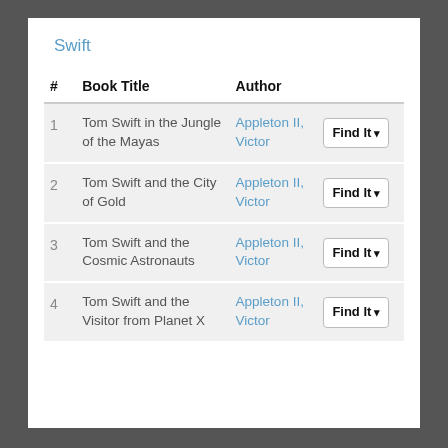Swift
| # | Book Title | Author |  |
| --- | --- | --- | --- |
| 1 | Tom Swift in the Jungle of the Mayas | Appleton II, Victor | Find It |
| 2 | Tom Swift and the City of Gold | Appleton II, Victor | Find It |
| 3 | Tom Swift and the Cosmic Astronauts | Appleton II, Victor | Find It |
| 4 | Tom Swift and the Visitor from Planet X | Appleton II, Victor | Find It |